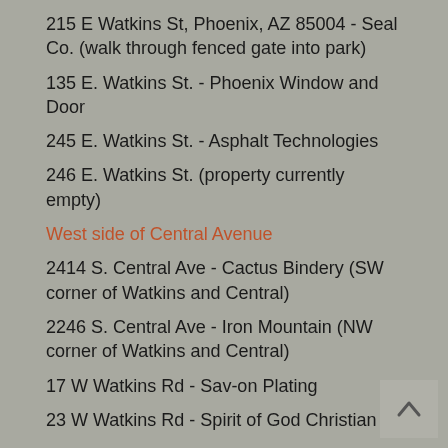215 E Watkins St, Phoenix, AZ 85004 - Seal Co. (walk through fenced gate into park)
135 E. Watkins St. - Phoenix Window and Door
245 E. Watkins St. - Asphalt Technologies
246 E. Watkins St. (property currently empty)
West side of Central Avenue
2414 S. Central Ave - Cactus Bindery (SW corner of Watkins and Central)
2246 S. Central Ave - Iron Mountain (NW corner of Watkins and Central)
17 W Watkins Rd - Sav-on Plating
23 W Watkins Rd - Spirit of God Christian